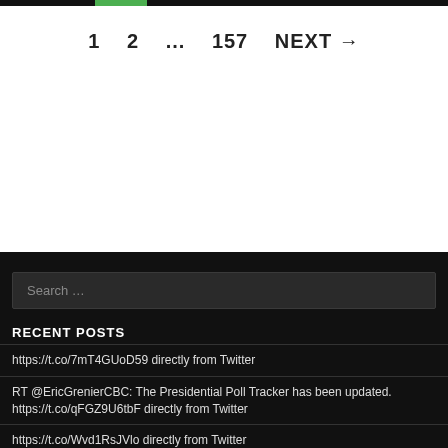1  2  ...  157  NEXT →
Search ...
RECENT POSTS
https://t.co/7mT4GUoD59 directly from Twitter
RT @EricGrenierCBC: The Presidential Poll Tracker has been updated. https://t.co/qFGZ9U6tbF directly from Twitter
https://t.co/Wvd1RsJVlo directly from Twitter
https://t.co/8ffe7kfahh directly from Twitter